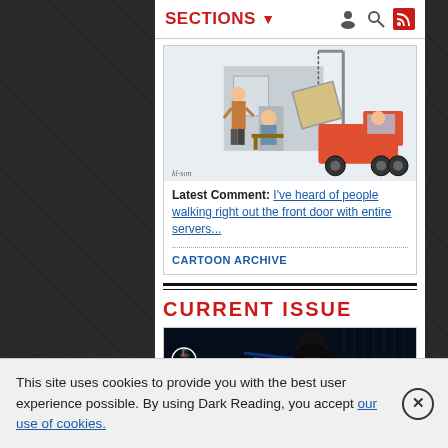SECTIONS ▼
[Figure (illustration): Cartoon illustration of office furniture being loaded onto a truck by a crane worker, with two office workers watching from inside. A red truck is visible on the right side. Artist signature at bottom left.]
Latest Comment: I've heard of people walking right out the front door with entire servers...
CARTOON ARCHIVE
CURRENT ISSUE
[Figure (screenshot): Black hat USA 2022 magazine cover/advertisement with dark blue cyberpunk aesthetic, showing a shadowy figure and the text 'black hat USA 2022']
This site uses cookies to provide you with the best user experience possible. By using Dark Reading, you accept our use of cookies.